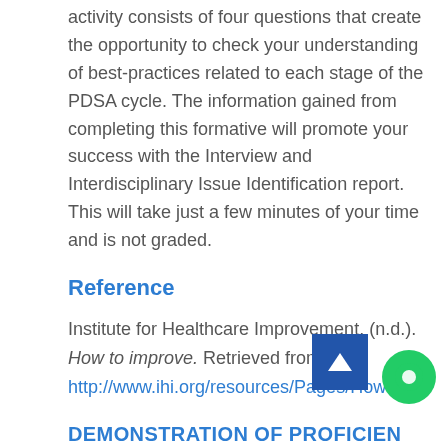activity consists of four questions that create the opportunity to check your understanding of best-practices related to each stage of the PDSA cycle. The information gained from completing this formative will promote your success with the Interview and Interdisciplinary Issue Identification report. This will take just a few minutes of your time and is not graded.
Reference
Institute for Healthcare Improvement. (n.d.). How to improve. Retrieved from http://www.ihi.org/resources/Pages/Howtc
DEMONSTRATION OF PROFICIEN
Competency 2: Explain how